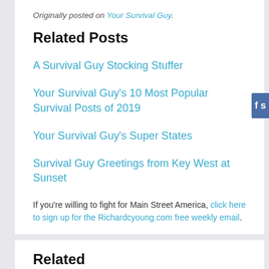Originally posted on Your Survival Guy.
Related Posts
A Survival Guy Stocking Stuffer
Your Survival Guy's 10 Most Popular Survival Posts of 2019
Your Survival Guy's Super States
Survival Guy Greetings from Key West at Sunset
If you’re willing to fight for Main Street America, click here to sign up for the Richardcyoung.com free weekly email.
Related